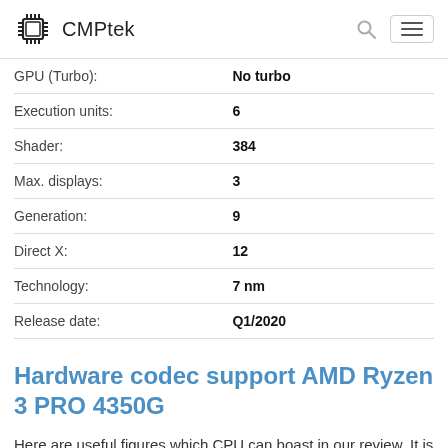CMPtek
| Property | Value |
| --- | --- |
| GPU (Turbo): | No turbo |
| Execution units: | 6 |
| Shader: | 384 |
| Max. displays: | 3 |
| Generation: | 9 |
| Direct X: | 12 |
| Technology: | 7 nm |
| Release date: | Q1/2020 |
Hardware codec support AMD Ryzen 3 PRO 4350G
Here are useful figures which CPU can boast in our review. It is technical information you can skip.